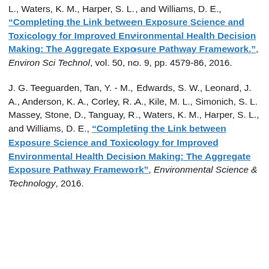L., Waters, K. M., Harper, S. L., and Williams, D. E., "Completing the Link between Exposure Science and Toxicology for Improved Environmental Health Decision Making: The Aggregate Exposure Pathway Framework.", Environ Sci Technol, vol. 50, no. 9, pp. 4579-86, 2016.
J. G. Teeguarden, Tan, Y. - M., Edwards, S. W., Leonard, J. A., Anderson, K. A., Corley, R. A., Kile, M. L., Simonich, S. L. Massey, Stone, D., Tanguay, R., Waters, K. M., Harper, S. L., and Williams, D. E., "Completing the Link between Exposure Science and Toxicology for Improved Environmental Health Decision Making: The Aggregate Exposure Pathway Framework", Environmental Science & Technology, 2016.